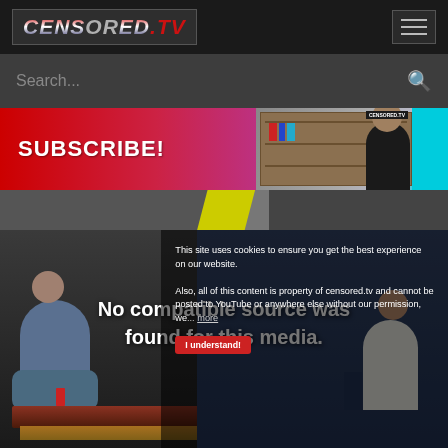CENSORED.TV
Search...
SUBSCRIBE!
[Figure (screenshot): Subscribe banner with image of a man in front of a shelf in the background]
[Figure (screenshot): Video player showing a TV show with two people at a desk. Overlay text reads 'No compatible source was found for this media.' and a cookie consent popup reads 'This site uses cookies to ensure you get the best experience on our website. Also, all of this content is property of censored.tv and cannot be posted to YouTube or anywhere else without our permission, we... more' with an 'I understand!' button.]